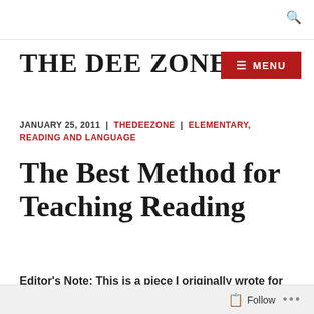THE DEE ZONE
JANUARY 25, 2011  |  THEDEEZONE  |  ELEMENTARY, READING AND LANGUAGE
The Best Method for Teaching Reading
Editor's Note: This is a piece I originally wrote for
Follow